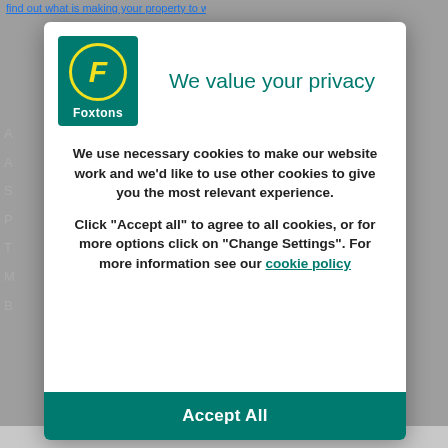[Figure (logo): Foxtons logo: green rectangle with yellow-circled italic F and white Foxtons text below]
We value your privacy
We use necessary cookies to make our website work and we'd like to use other cookies to give you the most relevant experience.
Click “Accept all” to agree to all cookies, or for more options click on “Change Settings”. For more information see our cookie policy
Accept All